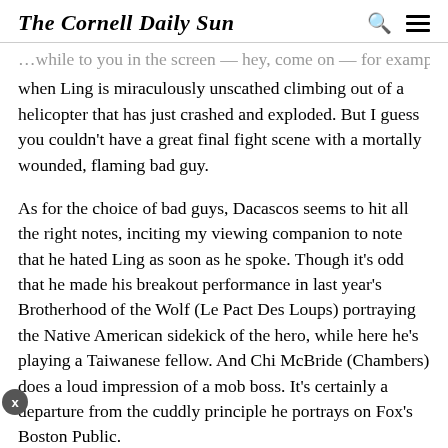The Cornell Daily Sun
…while to you in the screen — hey, come on — for example, when Ling is miraculously unscathed climbing out of a helicopter that has just crashed and exploded. But I guess you couldn't have a great final fight scene with a mortally wounded, flaming bad guy.
As for the choice of bad guys, Dacascos seems to hit all the right notes, inciting my viewing companion to note that he hated Ling as soon as he spoke. Though it's odd that he made his breakout performance in last year's Brotherhood of the Wolf (Le Pact Des Loups) portraying the Native American sidekick of the hero, while here he's playing a Taiwanese fellow. And Chi McBride (Chambers) does a loud impression of a mob boss. It's certainly a departure from the cuddly principle he portrays on Fox's Boston Public.